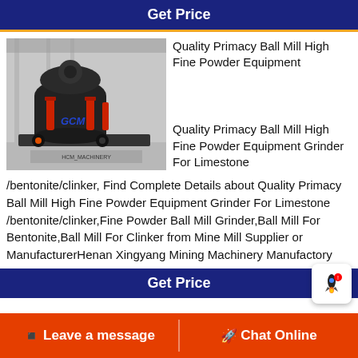Get Price
[Figure (photo): Industrial ball mill grinding machinery with black body and red hydraulic cylinders, GCM Machinery branding visible]
Quality Primacy Ball Mill High Fine Powder Equipment
Quality Primacy Ball Mill High Fine Powder Equipment Grinder For Limestone
/bentonite/clinker, Find Complete Details about Quality Primacy Ball Mill High Fine Powder Equipment Grinder For Limestone /bentonite/clinker,Fine Powder Ball Mill Grinder,Ball Mill For Bentonite,Ball Mill For Clinker from Mine Mill Supplier or ManufacturerHenan Xingyang Mining Machinery Manufactory
Get Price
Leave a message  Chat Online